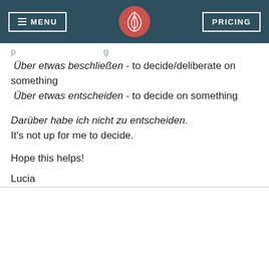MENU | [logo] | PRICING
p  g
Über etwas beschließen - to decide/deliberate on something
Über etwas entscheiden - to decide on something
Darüber habe ich nicht zu entscheiden. It's not up for me to decide.
Hope this helps!
Lucia